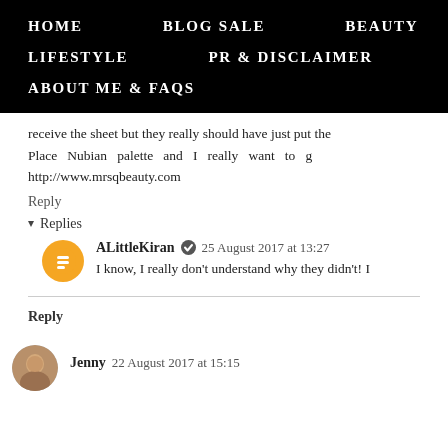HOME   BLOG SALE   BEAUTY   LIFESTYLE   PR & DISCLAIMER   ABOUT ME & FAQs
receive the sheet but they really should have just put the Place Nubian palette and I really want to g http://www.mrsqbeauty.com
Reply
Replies
ALittleKiran  25 August 2017 at 13:27
I know, I really don't understand why they didn't! I
Reply
Jenny 22 August 2017 at 15:15